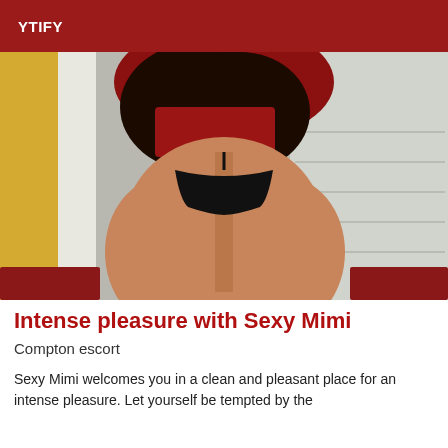YTIFY
[Figure (photo): A person posing from behind wearing black underwear, with colorful fabric/curtain background in yellow, white, and red tones.]
Intense pleasure with Sexy Mimi
Compton escort
Sexy Mimi welcomes you in a clean and pleasant place for an intense pleasure. Let yourself be tempted by the